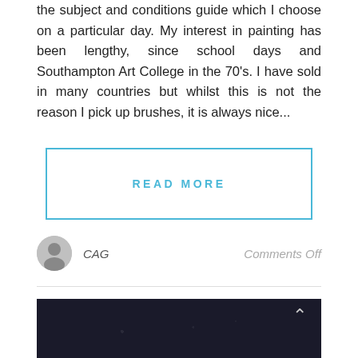the subject and conditions guide which I choose on a particular day. My interest in painting has been lengthy, since school days and Southampton Art College in the 70's. I have sold in many countries but whilst this is not the reason I pick up brushes, it is always nice...
READ MORE
CAG
Comments Off
[Figure (photo): Dark photograph, nearly black, with a faint upward chevron arrow in the upper right corner.]